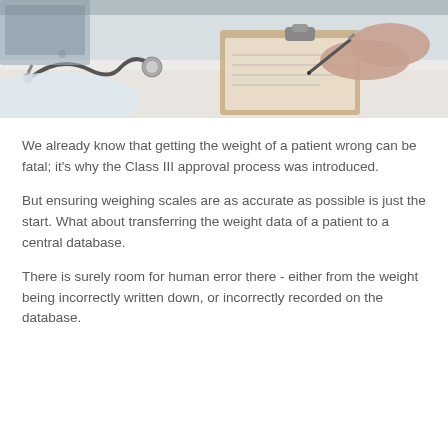[Figure (photo): Close-up photo of a doctor or medical professional writing on a clipboard, with a stethoscope visible in the foreground on a white desk surface.]
We already know that getting the weight of a patient wrong can be fatal; it's why the Class III approval process was introduced.
But ensuring weighing scales are as accurate as possible is just the start. What about transferring the weight data of a patient to a central database.
There is surely room for human error there - either from the weight being incorrectly written down, or incorrectly recorded on the database.